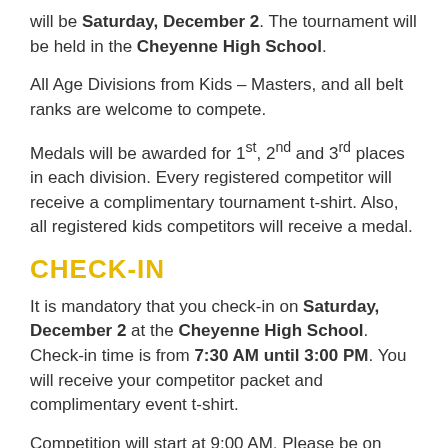will be Saturday, December 2. The tournament will be held in the Cheyenne High School.
All Age Divisions from Kids – Masters, and all belt ranks are welcome to compete.
Medals will be awarded for 1st, 2nd and 3rd places in each division. Every registered competitor will receive a complimentary tournament t-shirt. Also, all registered kids competitors will receive a medal.
CHECK-IN
It is mandatory that you check-in on Saturday, December 2 at the Cheyenne High School. Check-in time is from 7:30 AM until 3:00 PM. You will receive your competitor packet and complimentary event t-shirt.
Competition will start at 9:00 AM. Please be on time!